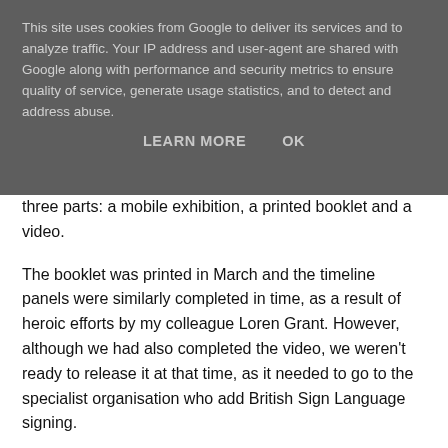This site uses cookies from Google to deliver its services and to analyze traffic. Your IP address and user-agent are shared with Google along with performance and security metrics to ensure quality of service, generate usage statistics, and to detect and address abuse.
LEARN MORE    OK
three parts: a mobile exhibition, a printed booklet and a video.
The booklet was printed in March and the timeline panels were similarly completed in time, as a result of heroic efforts by my colleague Loren Grant. However, although we had also completed the video, we weren't ready to release it at that time, as it needed to go to the specialist organisation who add British Sign Language signing.
The video is now completed … in time for a public launch of the whole resource at the headquarters of Greated Manchester Commissioning Service Unit (GMCSU) on Wednesday 8th May. As NHS North West's online resources